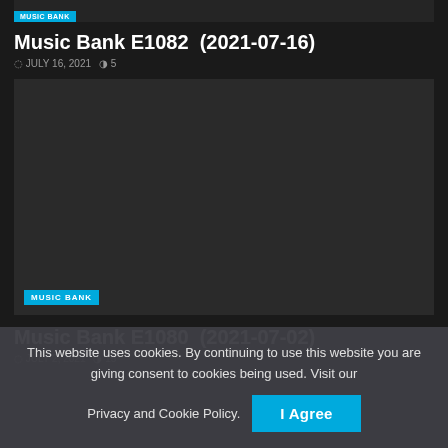[Figure (screenshot): Dark thumbnail image strip with a blue 'MUSIC BANK' category tag at bottom left]
Music Bank E1082 (2021-07-16)
JULY 16, 2021  5
[Figure (screenshot): Dark thumbnail image for Music Bank E1080 with 'MUSIC BANK' badge at bottom left]
Music Bank E1080 (2021-07-02)
JULY 2, 2021  15
This website uses cookies. By continuing to use this website you are giving consent to cookies being used. Visit our Privacy and Cookie Policy.